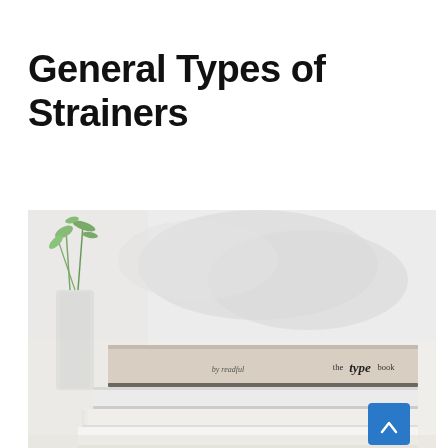General Types of Strainers
[Figure (photo): A stack of books on a white surface with a glass vase containing green plants in the background. The top book is beige/tan colored with text reading 'by readful' and 'the type book'. Below are white/light colored books. Soft, bright, minimalist aesthetic.]